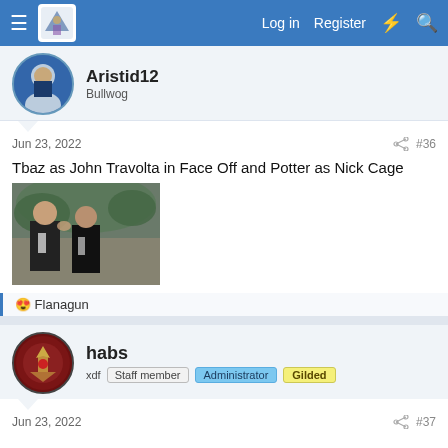Log in  Register
Aristid12
Bullwog
Jun 23, 2022  #36
Tbaz as John Travolta in Face Off and Potter as Nick Cage
[Figure (photo): Two men in suits, one grabbing the other's face/head, appears to be a movie still from Face/Off]
😍 Flanagun
habs
xdf  Staff member  Administrator  Gilded
Jun 23, 2022  #37